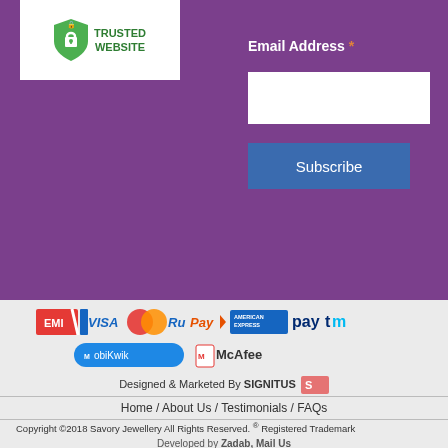[Figure (logo): Trusted Website badge with green lock icon on white background]
Email Address *
[Figure (other): White email input field]
Subscribe
[Figure (logo): Payment logos: EMI, VISA, MasterCard, RuPay, American Express, Paytm, MobiKwik, McAfee]
Designed & Marketed By SIGNITUS
Home / About Us / Testimonials / FAQs
Copyright ©2018 Savory Jewellery All Rights Reserved. ® Registered Trademark
Developed by Zadab, Mail Us